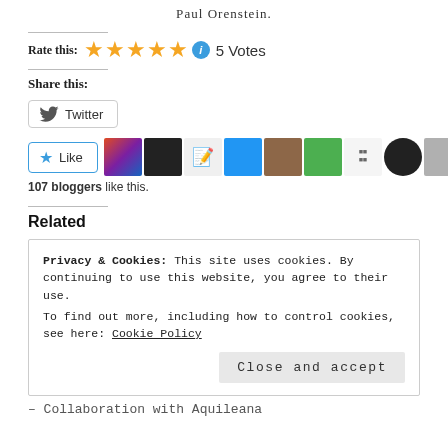Paul Orenstein.
[Figure (infographic): Star rating: 5 gold stars with an info icon and '5 Votes' text. Rate this label on the left.]
Share this:
[Figure (infographic): Twitter share button with Twitter bird icon and 'Twitter' text, rounded rectangle border.]
[Figure (infographic): Like button with blue star icon and 'Like' text, followed by a row of 10 blogger avatar thumbnails.]
107 bloggers like this.
Related
Privacy & Cookies: This site uses cookies. By continuing to use this website, you agree to their use.
To find out more, including how to control cookies, see here: Cookie Policy
Close and accept
– Collaboration with Aquileana